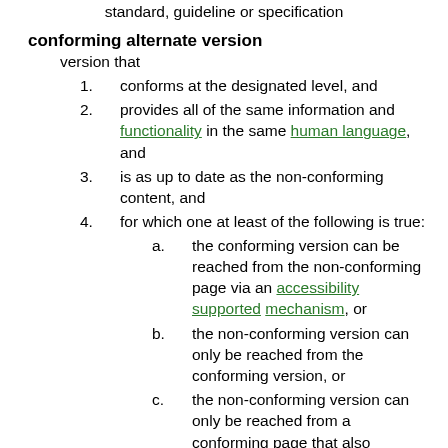standard, guideline or specification
conforming alternate version
version that
1. conforms at the designated level, and
2. provides all of the same information and functionality in the same human language, and
3. is as up to date as the non-conforming content, and
4. for which one at least of the following is true:
a. the conforming version can be reached from the non-conforming page via an accessibility supported mechanism, or
b. the non-conforming version can only be reached from the conforming version, or
c. the non-conforming version can only be reached from a conforming page that also provides a mechanism to reach the conforming version
Note: f...